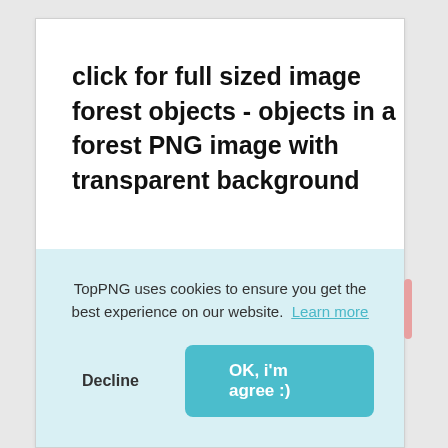click for full sized image forest objects - objects in a forest PNG image with transparent background
TopPNG uses cookies to ensure you get the best experience on our website.  Learn more
Decline
OK, i'm agree :)